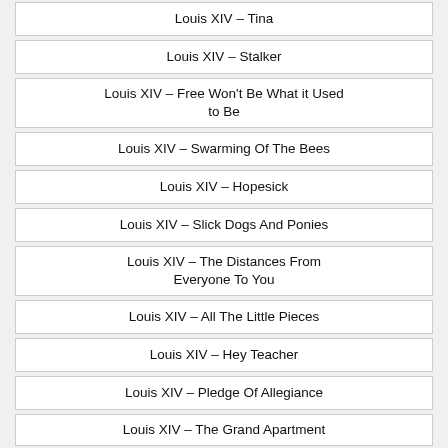Louis XIV – Tina
Louis XIV – Stalker
Louis XIV – Free Won't Be What it Used to Be
Louis XIV – Swarming Of The Bees
Louis XIV – Hopesick
Louis XIV – Slick Dogs And Ponies
Louis XIV – The Distances From Everyone To You
Louis XIV – All The Little Pieces
Louis XIV – Hey Teacher
Louis XIV – Pledge Of Allegiance
Louis XIV – The Grand Apartment